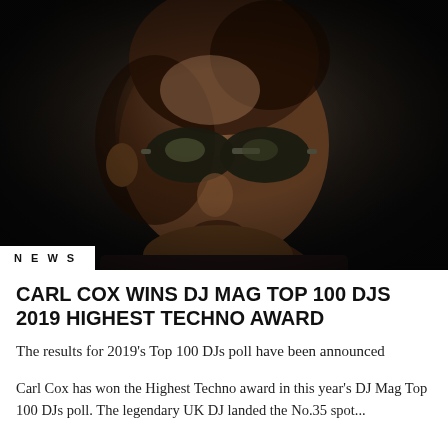[Figure (photo): Close-up portrait of Carl Cox, a bald Black man wearing aviator sunglasses, against a very dark background. He is wearing a dark shirt and has a serious expression. The image is dramatically lit.]
NEWS
CARL COX WINS DJ MAG TOP 100 DJS 2019 HIGHEST TECHNO AWARD
The results for 2019's Top 100 DJs poll have been announced
Carl Cox has won the Highest Techno award in this year's DJ Mag Top 100 DJs poll. The legendary UK DJ landed the No.35 spot...